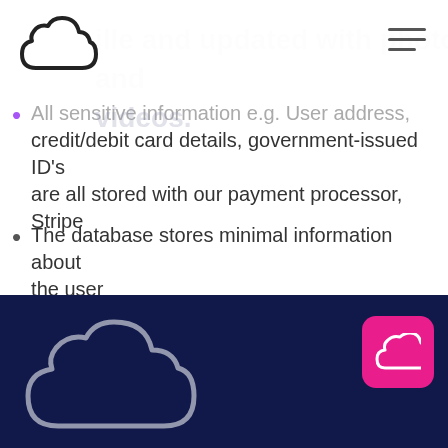Cloud logo and navigation header
All sensitive information e.g. User address, credit/debit card details, government-issued ID's are all stored with our payment processor, Stripe
The database stores minimal information about the user
[Figure (logo): Large cloud logo outline on dark navy background, bottom left]
[Figure (logo): Pink rounded square button with white cloud icon, bottom right]